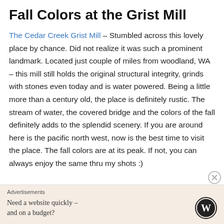Fall Colors at the Grist Mill
The Cedar Creek Grist Mill – Stumbled across this lovely place by chance. Did not realize it was such a prominent landmark. Located just couple of miles from woodland, WA – this mill still holds the original structural integrity, grinds with stones even today and is water powered. Being a little more than a century old, the place is definitely rustic. The stream of water, the covered bridge and the colors of the fall definitely adds to the splendid scenery. If you are around here is the pacific north west, now is the best time to visit the place. The fall colors are at its peak. If not, you can always enjoy the same thru my shots :)
[Figure (other): Advertisement banner: 'Need a website quickly – and on a budget?' with WordPress logo]